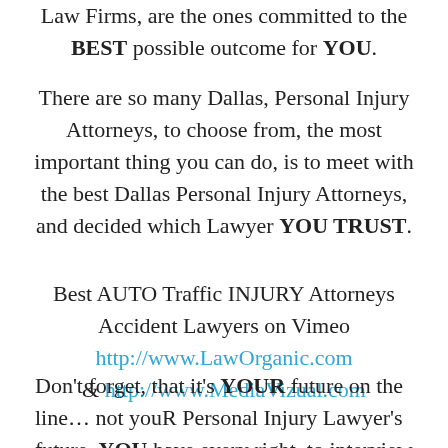Law Firms, are the ones committed to the BEST possible outcome for YOU.
There are so many Dallas, Personal Injury Attorneys, to choose from, the most important thing you can do, is to meet with the best Dallas Personal Injury Attorneys, and decided which Lawyer YOU TRUST.
Best AUTO Traffic INJURY Attorneys Accident Lawyers on Vimeo http://www.LawOrganic.com & http://www.MediaVizual.com
Don't forget, that it's YOUR future on the line… not youR Personal Injury Lawyer's future. YOU have every right, to interview each and every, Dallas Personal Injury Attorney, until you find